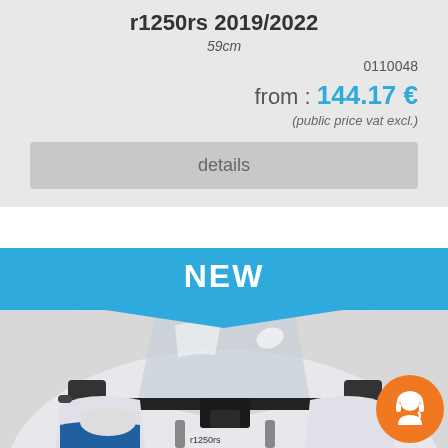r1250rs 2019/2022
59cm
0110048
from : 144.17 €
(public price vat excl.)
details
NEW
[Figure (photo): Motorcycle windscreen/windshield on a BMW R1250RS motorcycle, with a clear/tinted screen, black handlebar and mounting hardware, white fairing, blue accents. Orange customer support icon in bottom right corner.]